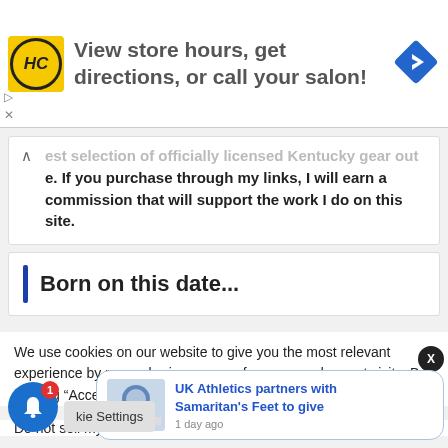[Figure (logo): HC salon logo in yellow square, blue navigation arrow icon on right, ad banner reading 'View store hours, get directions, or call your salon!']
...est selection of officially licensed Kentucky gear out there.  If you purchase through my links, I will earn a commission that will support the work I do on this site.
Born on this date...
We use cookies on our website to give you the most relevant experience by remembering your preferences and repeat visits. By clicking “Accept”, you consent to the use of ALL the cookies.
Do not sell my personal information.
[Figure (screenshot): Notification popup showing UK Athletics partners with Samaritan's Feet to give, 1 day ago]
Cookie Settings